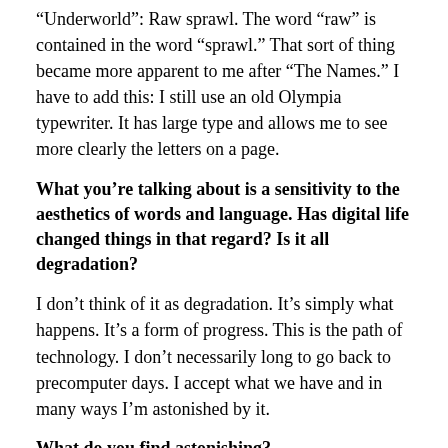“Underworld”: Raw sprawl. The word “raw” is contained in the word “sprawl.” That sort of thing became more apparent to me after “The Names.” I have to add this: I still use an old Olympia typewriter. It has large type and allows me to see more clearly the letters on a page.
What you’re talking about is a sensitivity to the aesthetics of words and language. Has digital life changed things in that regard? Is it all degradation?
I don’t think of it as degradation. It’s simply what happens. It’s a form of progress. This is the path of technology. I don’t necessarily long to go back to precomputer days. I accept what we have and in many ways I’m astonished by it.
What do you find astonishing?